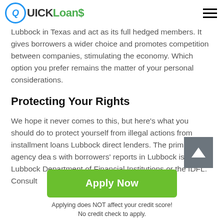QUICK Loans
Lubbock in Texas and act as its full hedged members. It gives borrowers a wider choice and promotes competition between companies, stimulating the economy. Which option you prefer remains the matter of your personal considerations.
Protecting Your Rights
We hope it never comes to this, but here's what you should do to protect yourself from illegal actions from installment loans Lubbock direct lenders. The primary agency deals with borrowers' reports in Lubbock is The Lubbock Department of Financial Institutions or the IDFL. Consult
[Figure (other): Grey scroll-to-top button with white upward arrow]
Apply Now
Applying does NOT affect your credit score!
No credit check to apply.